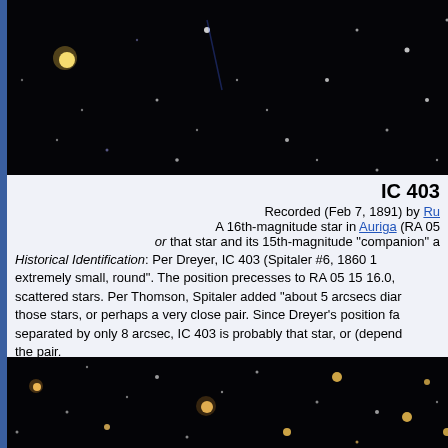[Figure (photo): Deep sky astronomical image showing stars on a black background, top portion of page]
IC 403
Recorded (Feb 7, 1891) by Ru[...]
A 16th-magnitude star in Auriga (RA 05 [...]
or that star and its 15th-magnitude "companion" a[...]
Historical Identification: Per Dreyer, IC 403 (Spitaler #6, 1860 [...] extremely small, round". The position precesses to RA 05 15 16.0, scattered stars. Per Thomson, Spitaler added "about 5 arcsecs diar those stars, or perhaps a very close pair. Since Dreyer's position fa separated by only 8 arcsec, IC 403 is probably that star, or (depend the pair.
Physical Information:
[Figure (photo): Deep sky astronomical image showing stars on a black background, bottom portion of page]